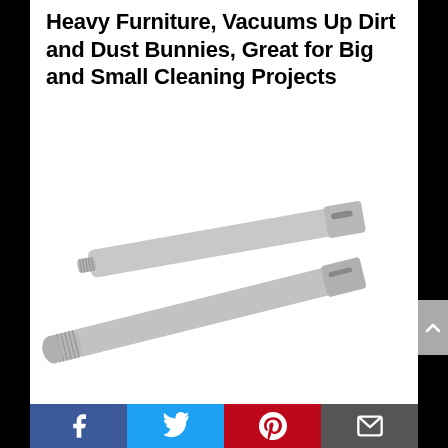Heavy Furniture, Vacuums Up Dirt and Dust Bunnies, Great for Big and Small Cleaning Projects
[Figure (photo): Two grey flat vacuum crevice tool attachments lying diagonally, one on top of the other, on a white background.]